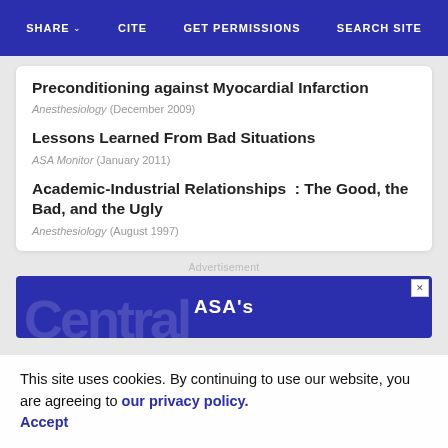SHARE | CITE | GET PERMISSIONS | SEARCH SITE
Preconditioning against Myocardial Infarction
Anesthesiology (December 2009)
Lessons Learned From Bad Situations
ASA Monitor (January 2011)
Academic-Industrial Relationships  : The Good, the Bad, and the Ugly
Anesthesiology (August 1997)
Advertisement
[Figure (other): ASA's Central advertisement banner with blue background and watermark text]
This site uses cookies. By continuing to use our website, you are agreeing to our privacy policy. Accept